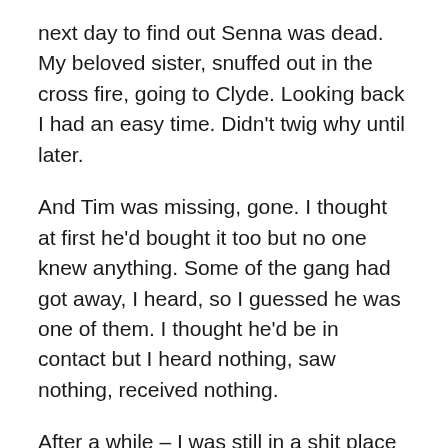next day to find out Senna was dead. My beloved sister, snuffed out in the cross fire, going to Clyde. Looking back I had an easy time. Didn't twig why until later.
And Tim was missing, gone. I thought at first he'd bought it too but no one knew anything. Some of the gang had got away, I heard, so I guessed he was one of them. I thought he'd be in contact but I heard nothing, saw nothing, received nothing.
After a while – I was still in a shit place – I went to the cops. They did eff all. Well laugh, but no help. I knew they would, but I had to try. I loved him, I knew he'd not just leave so I reasoned he'd got hurt, some of the boys got him away and he'd died, probably alone. They'd have not wanted to tell anyone, in case it led to them so they just dumped the body. Off the docks at Avonmouth, probably.